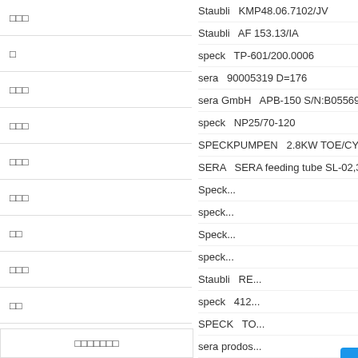□□□
□
□□□
□□□
□□□
□□□
□□
□□□
□□
□
□□
□□□
□□□□□□□
Staubli  KMP48.06.7102/JV
Staubli   AF 153.13/IA
speck   TP-601/200.0006
sera   90005319 D=176
sera GmbH   APB-150 S/N:B055699
speck   NP25/70-120
SPECKPUMPEN   2.8KW TOE/CY-5091...
SERA   SERA feeding tube SL-02,300580...
Speck...
speck...
Speck...
speck...
Staubli  RE...
speck  412...
SPECK  TO...
sera prodos...
SPECK PU...
speck   ASK4004-82-30
speck   O-RING O6.0105
[Figure (infographic): Online consultation floating button (在线咨询) in blue with arrow, and a chat popup showing phone number 17602156986 and QQ online chat option (QQ在线)]